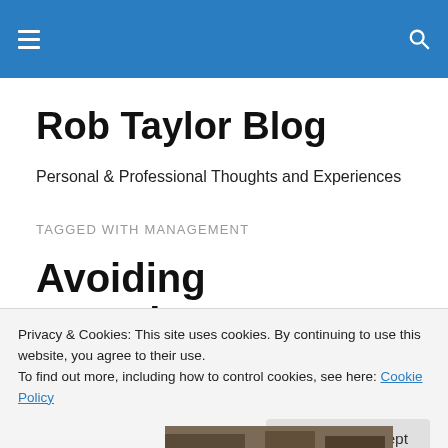Rob Taylor Blog — site header navigation bar
Rob Taylor Blog
Personal & Professional Thoughts and Experiences
TAGGED WITH MANAGEMENT
Avoiding Complacency
[Figure (photo): Partial photo of outdoor scene visible behind cookie banner]
Privacy & Cookies: This site uses cookies. By continuing to use this website, you agree to their use.
To find out more, including how to control cookies, see here: Cookie Policy
Close and accept